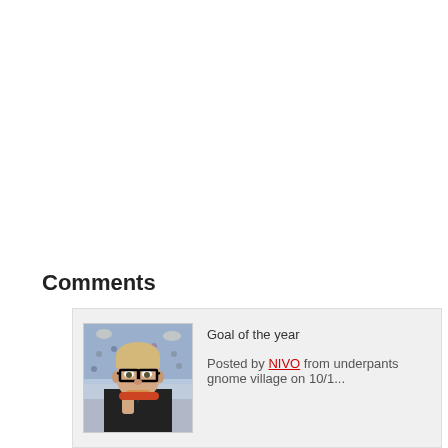Comments
[Figure (photo): Avatar photo of a man in a suit wearing novelty glasses and eating a hot dog, with a hockey arena crowd in the background. Rectangular novelty glasses overlay on face.]
Goal of the year
Posted by NIVO from underpants gnome village on 10/1...